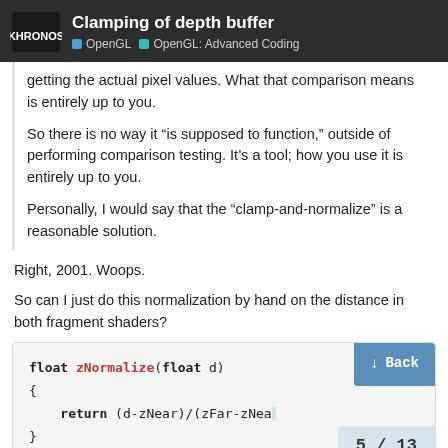Clamping of depth buffer | OpenGL | OpenGL: Advanced Coding
getting the actual pixel values. What that comparison means is entirely up to you.

So there is no way it “is supposed to function,” outside of performing comparison testing. It’s a tool; how you use it is entirely up to you.

Personally, I would say that the “clamp-and-normalize” is a reasonable solution.
Right, 2001. Woops.
So can I just do this normalization by hand on the distance in both fragment shaders?
[Figure (screenshot): Code block showing: float zNormalize(float d) { return (d-zNear)/(zFar-zNea... }]